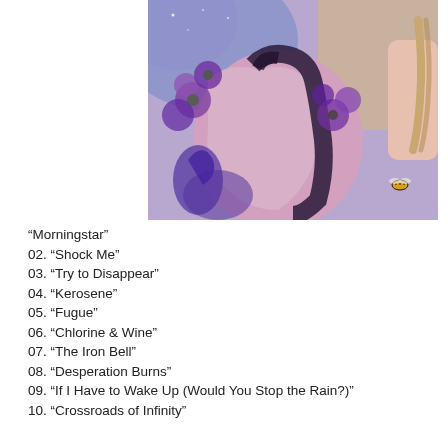[Figure (illustration): Album cover artwork: a figure with purple/pink skin surrounded by purple flowers and foliage against a blue-purple background, with another person partially visible on the right holding a rope.]
“Morningstar”
02. “Shock Me”
03. “Try to Disappear”
04. “Kerosene”
05. “Fugue”
06. “Chlorine & Wine”
07. “The Iron Bell”
08. “Desperation Burns”
09. “If I Have to Wake Up (Would You Stop the Rain?)”
10. “Crossroads of Infinity”